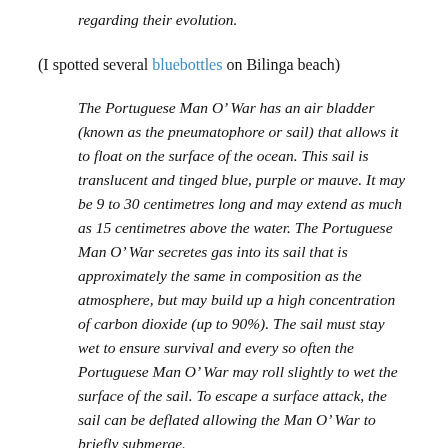regarding their evolution.
(I spotted several bluebottles on Bilinga beach)
The Portuguese Man O’ War has an air bladder (known as the pneumatophore or sail) that allows it to float on the surface of the ocean. This sail is translucent and tinged blue, purple or mauve. It may be 9 to 30 centimetres long and may extend as much as 15 centimetres above the water. The Portuguese Man O’ War secretes gas into its sail that is approximately the same in composition as the atmosphere, but may build up a high concentration of carbon dioxide (up to 90%). The sail must stay wet to ensure survival and every so often the Portuguese Man O’ War may roll slightly to wet the surface of the sail. To escape a surface attack, the sail can be deflated allowing the Man O’ War to briefly submerge.
Below the main body dangle long tentacles, which